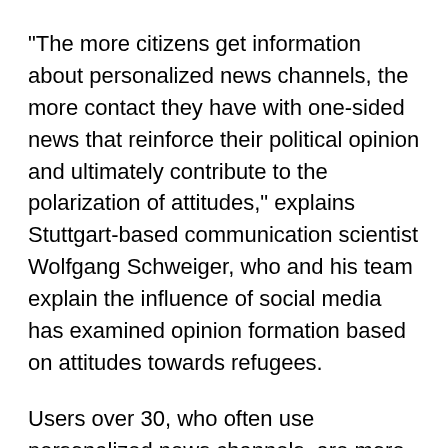"The more citizens get information about personalized news channels, the more contact they have with one-sided news that reinforce their political opinion and ultimately contribute to the polarization of attitudes," explains Stuttgart-based communication scientist Wolfgang Schweiger, who and his team explain the influence of social media has examined opinion formation based on attitudes towards refugees.
Users over 30, who often use personalized news channels, are more critical of refugees than the national average. It was the other way around for young users: the more they used Facebook & Co, the more positive they perceived refugees. "When asked whether the use of personalized news channels promotes extreme political attitudes, there are astonishingly opposite effects," said